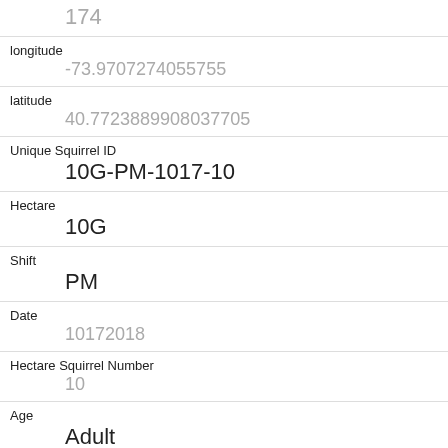174
longitude
-73.9707274055755
latitude
40.7723889908037705
Unique Squirrel ID
10G-PM-1017-10
Hectare
10G
Shift
PM
Date
10172018
Hectare Squirrel Number
10
Age
Adult
Primary Fur Color
Gray
Highlight Fur Color